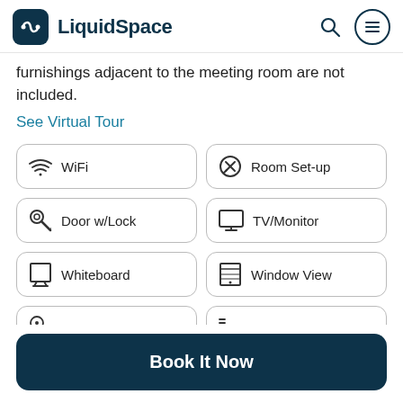LiquidSpace
furnishings adjacent to the meeting room are not included.
See Virtual Tour
WiFi
Room Set-up
Door w/Lock
TV/Monitor
Whiteboard
Window View
Book It Now